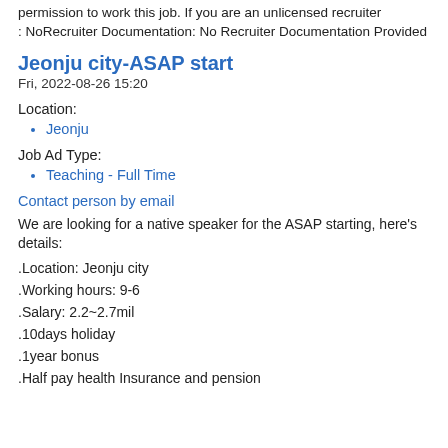permission to work this job. If you are an unlicensed recruiter : NoRecruiter Documentation: No Recruiter Documentation Provided
Jeonju city-ASAP start
Fri, 2022-08-26 15:20
Location:
Jeonju
Job Ad Type:
Teaching - Full Time
Contact person by email
We are looking for a native speaker for the ASAP starting, here's details:
.Location: Jeonju city
.Working hours: 9-6
.Salary: 2.2~2.7mil
.10days holiday
.1year bonus
.Half pay health Insurance and pension